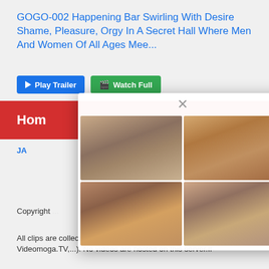GOGO-002 Happening Bar Swirling With Desire Shame, Pleasure, Orgy In A Secret Hall Where Men And Women Of All Ages Mee...
[Figure (screenshot): Two buttons: blue 'Play Trailer' button and green 'Watch Full' button]
Home
JAV ... 0p
Copyright ... Japanese
All clips are collected from outside sources (Openload.co, Videomoga.TV,...). No videos are hosted on this server.If
[Figure (screenshot): Modal popup with close X button and a 2x2 grid of adult content thumbnail images]